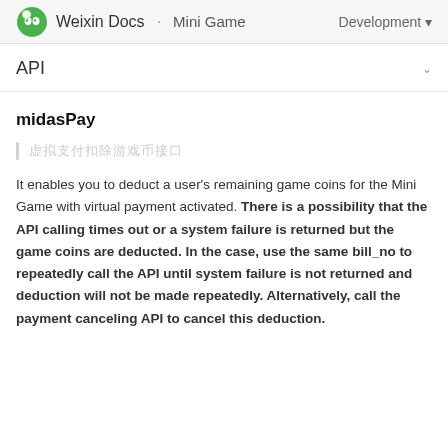Weixin Docs · Mini Game  Development
API
midasPay
虚拟支付扣除游戏币接口
It enables you to deduct a user's remaining game coins for the Mini Game with virtual payment activated. There is a possibility that the API calling times out or a system failure is returned but the game coins are deducted. In the case, use the same bill_no to repeatedly call the API until system failure is not returned and deduction will not be made repeatedly. Alternatively, call the payment canceling API to cancel this deduction.